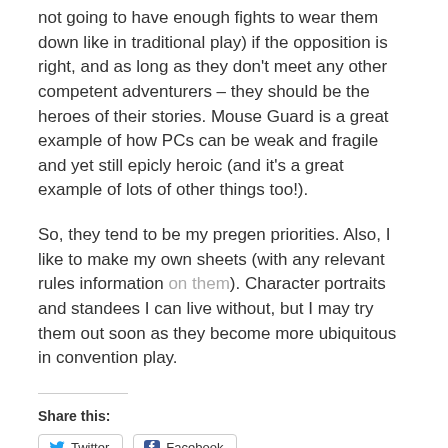not going to have enough fights to wear them down like in traditional play) if the opposition is right, and as long as they don't meet any other competent adventurers – they should be the heroes of their stories. Mouse Guard is a great example of how PCs can be weak and fragile and yet still epicly heroic (and it's a great example of lots of other things too!).
So, they tend to be my pregen priorities. Also, I like to make my own sheets (with any relevant rules information on them). Character portraits and standees I can live without, but I may try them out soon as they become more ubiquitous in convention play.
Share this:
Twitter  Facebook